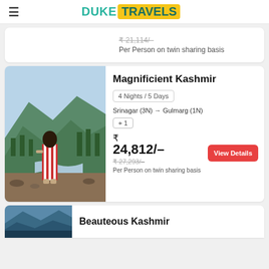DUKE TRAVELS
₹ 21,114/–
Per Person on twin sharing basis
Magnificient Kashmir
4 Nights / 5 Days
Srinagar (3N) → Gulmarg (1N)
+ 1
₹ 24,812/–
₹ 27,293/–
Per Person on twin sharing basis
Beauteous Kashmir